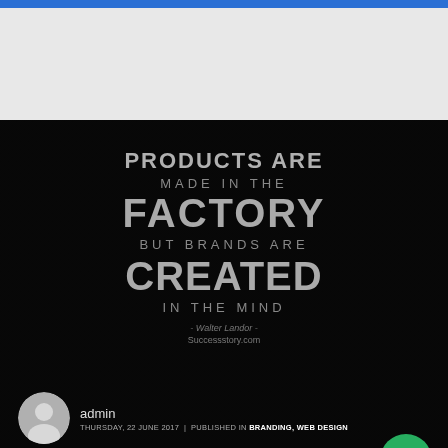[Figure (illustration): Dark hero banner with motivational branding quote: 'PRODUCTS ARE MADE IN THE FACTORY BUT BRANDS ARE CREATED IN THE MIND' attributed to Walter Landor / Successstory.com, with a silhouette background of a person]
admin
THURSDAY, 22 JUNE 2017  |  PUBLISHED IN BRANDING, WEB DESIGN
What Does Your Branding Say About